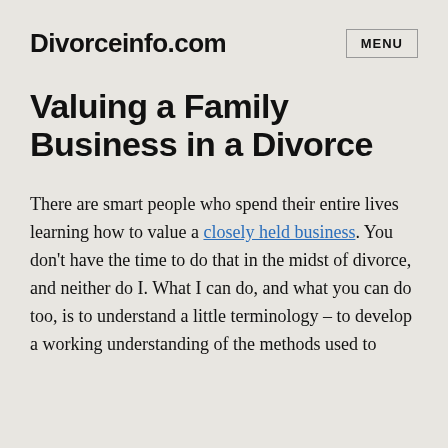Divorceinfo.com
Valuing a Family Business in a Divorce
There are smart people who spend their entire lives learning how to value a closely held business. You don't have the time to do that in the midst of divorce, and neither do I. What I can do, and what you can do too, is to understand a little terminology – to develop a working understanding of the methods used to